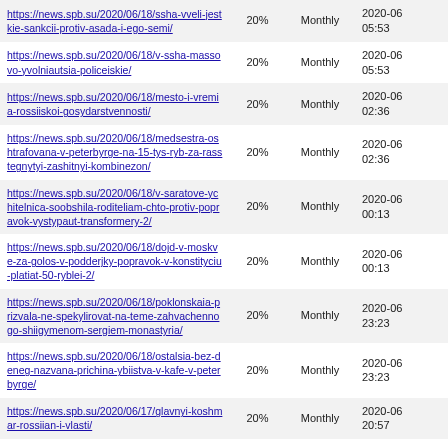| URL | % | Frequency | Last Modified |
| --- | --- | --- | --- |
| https://news.spb.su/2020/06/18/ssha-vveli-jestkie-sankcii-protiv-asada-i-ego-semi/ | 20% | Monthly | 2020-06 05:53 |
| https://news.spb.su/2020/06/18/v-ssha-massovo-yvolniautsia-policeiskie/ | 20% | Monthly | 2020-06 05:53 |
| https://news.spb.su/2020/06/18/mesto-i-vremia-rossiiskoi-gosydarstvennosti/ | 20% | Monthly | 2020-06 02:36 |
| https://news.spb.su/2020/06/18/medsestra-oshtrafovana-v-peterbyrge-na-15-tys-ryb-za-rasstegnytyi-zashitnyi-kombinezon/ | 20% | Monthly | 2020-06 02:36 |
| https://news.spb.su/2020/06/18/v-saratove-ychitelnica-soobshila-roditeliam-chto-protiv-popravok-vystypaut-transformery-2/ | 20% | Monthly | 2020-06 00:13 |
| https://news.spb.su/2020/06/18/dojd-v-moskve-za-golos-v-podderjky-popravok-v-konstityciu-platiat-50-ryblei-2/ | 20% | Monthly | 2020-06 00:13 |
| https://news.spb.su/2020/06/18/poklonskaia-prizvala-ne-spekylirovat-na-teme-zahvachennogo-shiigymenom-sergiem-monastyria/ | 20% | Monthly | 2020-06 23:23 |
| https://news.spb.su/2020/06/18/ostalsia-bez-deneg-nazvana-prichina-ybiistva-v-kafe-v-peterbyrge/ | 20% | Monthly | 2020-06 23:23 |
| https://news.spb.su/2020/06/17/glavnyi-koshmar-rossiian-i-vlasti/ | 20% | Monthly | 2020-06 20:57 |
| https://news.spb.su/2020/06/17/v-moskve-obsydili-strategiu-razvitiia-arktiki-do-2035-goda/ | 20% | Monthly | 2020-06 20:57 |
| https://news.spb.su/2020/06/17/v-saratove-ychitelnica-soobshila-roditeliam-chto-protiv-popravok-vystypaut-transformery/ | 20% | Monthly | 2020-06 20:10 |